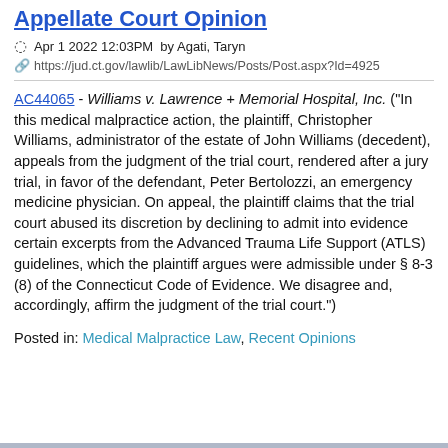Appellate Court Opinion
Apr 1 2022 12:03PM  by Agati, Taryn
https://jud.ct.gov/lawlib/LawLibNews/Posts/Post.aspx?Id=4925
AC44065 - Williams v. Lawrence + Memorial Hospital, Inc. ("In this medical malpractice action, the plaintiff, Christopher Williams, administrator of the estate of John Williams (decedent), appeals from the judgment of the trial court, rendered after a jury trial, in favor of the defendant, Peter Bertolozzi, an emergency medicine physician. On appeal, the plaintiff claims that the trial court abused its discretion by declining to admit into evidence certain excerpts from the Advanced Trauma Life Support (ATLS) guidelines, which the plaintiff argues were admissible under § 8-3 (8) of the Connecticut Code of Evidence. We disagree and, accordingly, affirm the judgment of the trial court.")
Posted in: Medical Malpractice Law, Recent Opinions